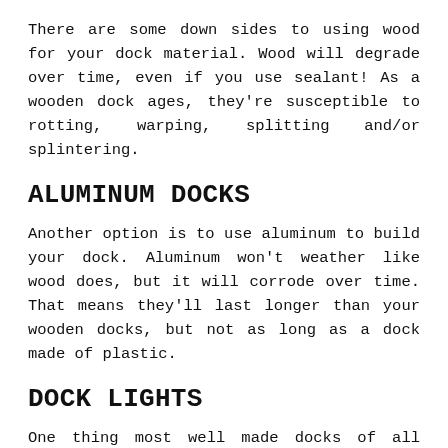There are some down sides to using wood for your dock material. Wood will degrade over time, even if you use sealant! As a wooden dock ages, they're susceptible to rotting, warping, splitting and/or splintering.
ALUMINUM DOCKS
Another option is to use aluminum to build your dock. Aluminum won't weather like wood does, but it will corrode over time. That means they'll last longer than your wooden docks, but not as long as a dock made of plastic.
DOCK LIGHTS
One thing most well made docks of all kinds have is good lighting. If you're trying to dock